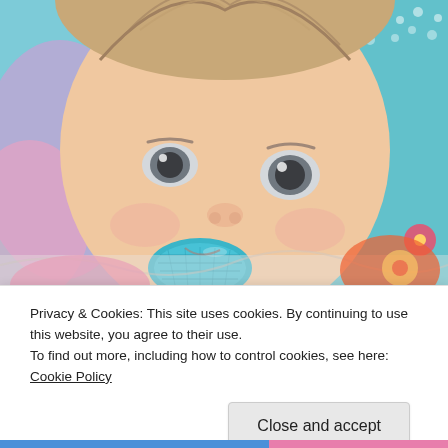[Figure (photo): Close-up photo of a baby with light hair and blue-gray eyes, chewing on a teal/blue teething toy. The background shows a colorful playmat with flower and butterfly patterns in pink, teal, and orange.]
Privacy & Cookies: This site uses cookies. By continuing to use this website, you agree to their use.
To find out more, including how to control cookies, see here: Cookie Policy
Close and accept